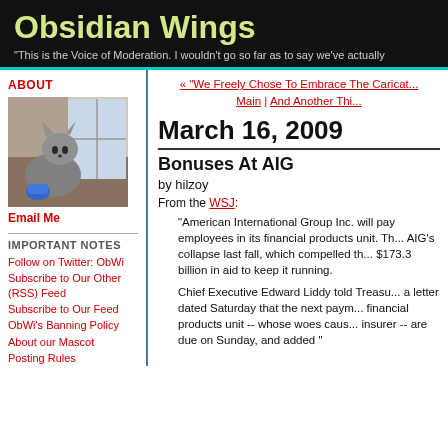Obsidian Wings
"This is the Voice of Moderation. I wouldn't go so far as to say we've actually
ABOUT
[Figure (photo): A cat looking out a window holding a blue toy]
Email Me
IMPORTANT NOTES
Follow on Twitter: ObWi
Subscribe to Our Other (RSS) Feed
Subscribe to Our Feed
ObWi's Banning Policy
About our Mascot
Posting Rules
« "We Freely Chose To Embrace The Caricatured..."
Main | And Another Thi...
March 16, 2009
Bonuses At AIG
by hilzoy
From the WSJ:
"American International Group Inc. will pay employees in its financial products unit. This AIG's collapse last fall, which compelled th... $173.3 billion in aid to keep it running.
Chief Executive Edward Liddy told Treasu... a letter dated Saturday that the next paym... financial products unit -- whose woes caus... insurer -- are due on Sunday, and added "